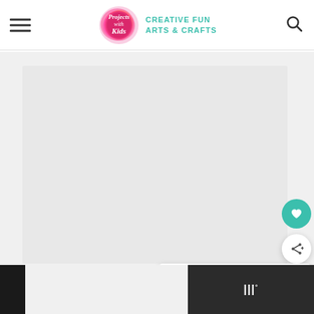Projects with Kids — CREATIVE FUN ARTS & CRAFTS
[Figure (screenshot): Website screenshot showing a blog/crafts site with a gray placeholder image area, navigation dots, floating heart and share buttons, a 'What's Next' card showing 'Easy Heart Spin Paintin...' with a thumbnail, and bottom advertisement bars]
WHAT'S NEXT → Easy Heart Spin Paintin...